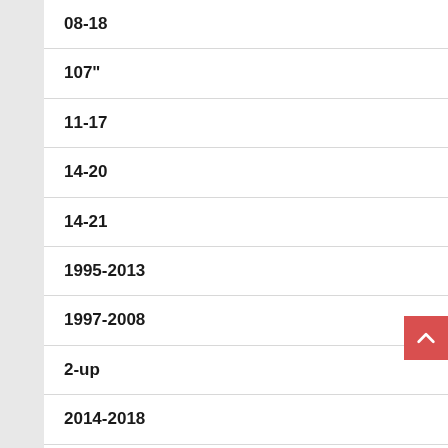08-18
107"
11-17
14-20
14-21
1995-2013
1997-2008
2-up
2014-2018
2014-2020
2014-up